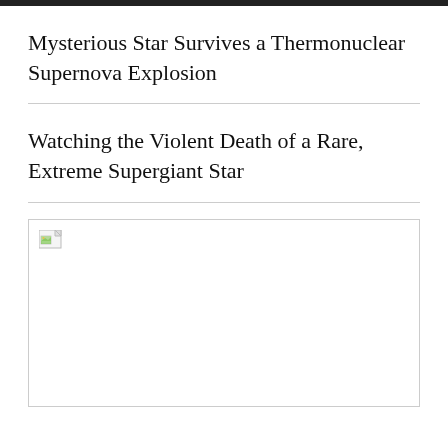Mysterious Star Survives a Thermonuclear Supernova Explosion
Watching the Violent Death of a Rare, Extreme Supergiant Star
[Figure (photo): Placeholder image (broken/unloaded image icon visible in top-left corner) — large rectangular image region below the second headline]